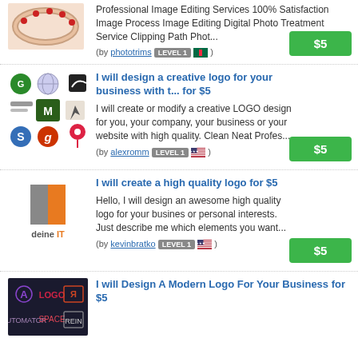Professional Image Editing Services 100% Satisfaction Image Process Image Editing Digital Photo Treatment Service Clipping Path Phot... (by phototrims LEVEL 1) $5
I will design a creative logo for your business with t... for $5 — I will create or modify a creative LOGO design for you, your company, your business or your website with high quality. Clean Neat Profes... (by alexromm LEVEL 1) $5
I will create a high quality logo for $5 — Hello, I will design an awesome high quality logo for your busines or personal interests. Just describe me which elements you want... (by kevinbratko LEVEL 1) $5
I will Design A Modern Logo For Your Business for $5